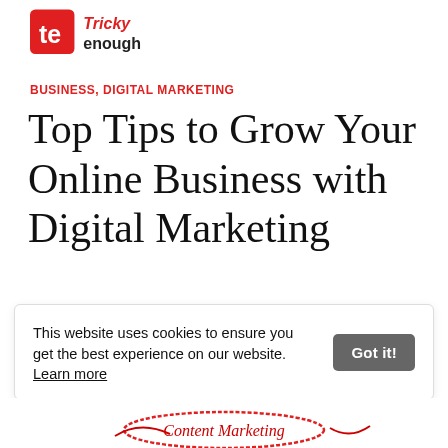Tricky Enough [logo]
BUSINESS, DIGITAL MARKETING
Top Tips to Grow Your Online Business with Digital Marketing
Written by Robin Khokhar
This website uses cookies to ensure you get the best experience on our website. Learn more
[Figure (illustration): Bottom portion of a content marketing infographic or image with handwritten 'Content Marketing' text inside a red oval doodle]